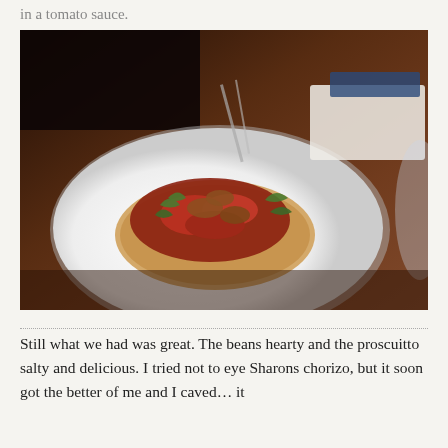in a tomato sauce.
[Figure (photo): A plate of food on a wooden table — an open-faced sandwich or bruschetta topped with tomato sauce, chorizo or sausage pieces, and arugula leaves, on a white plate. In the background, cutlery, napkins, and a glass are visible on the wooden restaurant table.]
Still what we had was great. The beans hearty and the proscuitto salty and delicious. I tried not to eye Sharons chorizo, but it soon got the better of me and I caved… it